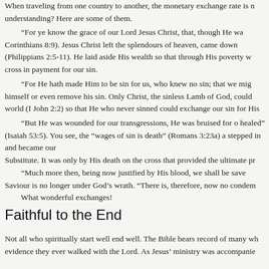When traveling from one country to another, the monetary exchange rate is n understanding?  Here are some of them.
“For ye know the grace of our Lord Jesus Christ, that, though He wa Corinthians 8:9).  Jesus Christ left the splendours of heaven, came down (Philippians 2:5-11).  He laid aside His wealth so that through His poverty w cross in payment for our sin.
“For He hath made Him to be sin for us, who knew no sin; that we mig himself or even remove his sin.  Only Christ, the sinless Lamb of God, could world (I John 2:2) so that He who never sinned could exchange our sin for His
“But He was wounded for our transgressions, He was bruised for o healed” (Isaiah 53:5).  You see, the “wages of sin is death” (Romans 3:23a) a stepped in and became our
Substitute.  It was only by His death on the cross that provided the ultimate pr
“Much more then, being now justified by His blood, we shall be save Saviour is no longer under God’s wrath.  “There is, therefore, now no condem
        What wonderful exchanges!
Faithful to the End
Not all who spiritually start well end well.  The Bible bears record of many wh evidence they ever walked with the Lord.  As Jesus’ ministry was accompanie